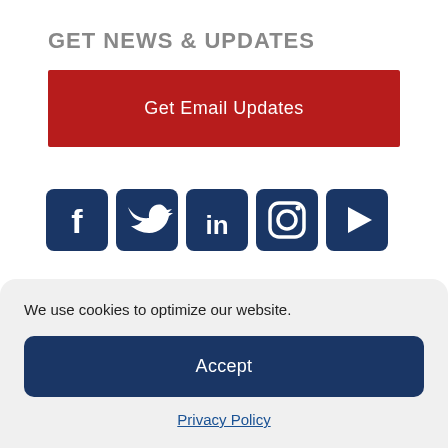GET NEWS & UPDATES
Get Email Updates
[Figure (infographic): Social media icons: Facebook, Twitter, LinkedIn, Instagram, YouTube — dark navy rounded square icons]
[Figure (logo): Two circular badge logos: GuideStar Platinum Transparency badge and American Brain Coalition Nonprofit Member badge]
We use cookies to optimize our website.
Accept
Privacy Policy